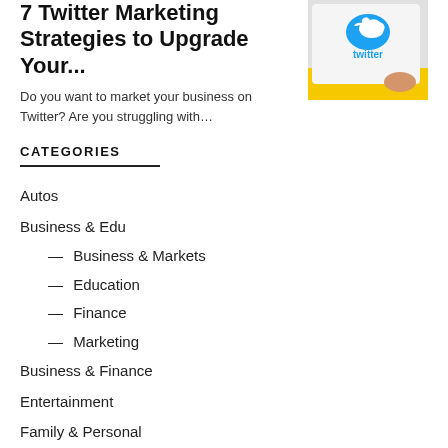7 Twitter Marketing Strategies to Upgrade Your...
Do you want to market your business on Twitter? Are you struggling with...
[Figure (photo): Photo of Twitter logo on a card with yellow background]
CATEGORIES
Autos
Business & Edu
— Business & Markets
— Education
— Finance
— Marketing
Business & Finance
Entertainment
Family & Personal
Food & Health